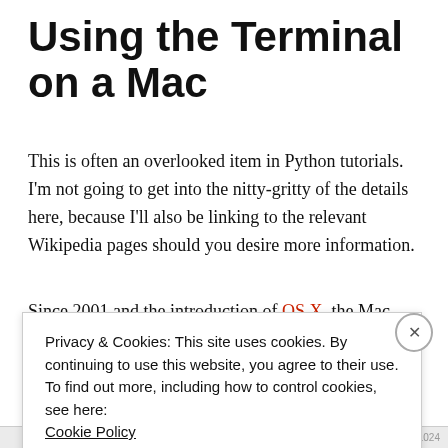Using the Terminal on a Mac
This is often an overlooked item in Python tutorials.  I'm not going to get into the nitty-gritty of the details here, because I'll also be linking to the relevant Wikipedia pages should you desire more information.
Since 2001 and the introduction of OS X, the Mac
Privacy & Cookies: This site uses cookies. By continuing to use this website, you agree to their use.
To find out more, including how to control cookies, see here: Cookie Policy
Close and accept